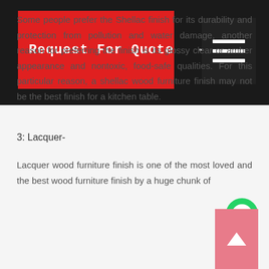Request For Quote →
Some people prefer the Shellac finish for its durability and protection from pollution and water damage, another reason for preferring the finish is its glossy clear or amber appearance and nontoxic, food-safe qualities. For this particular reason, a shellac wood furniture finish may not be the best finish for a kitchen table.
3: Lacquer-
Lacquer wood furniture finish is one of the most loved and the best wood furniture finish by a huge chunk of